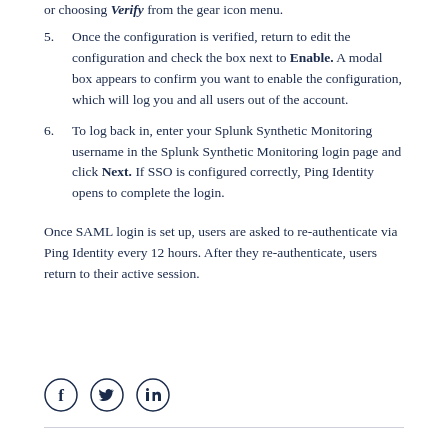or choosing Verify from the gear icon menu.
5. Once the configuration is verified, return to edit the configuration and check the box next to Enable. A modal box appears to confirm you want to enable the configuration, which will log you and all users out of the account.
6. To log back in, enter your Splunk Synthetic Monitoring username in the Splunk Synthetic Monitoring login page and click Next. If SSO is configured correctly, Ping Identity opens to complete the login.
Once SAML login is set up, users are asked to re-authenticate via Ping Identity every 12 hours. After they re-authenticate, users return to their active session.
[Figure (other): Social share icons: Facebook, Twitter, LinkedIn]